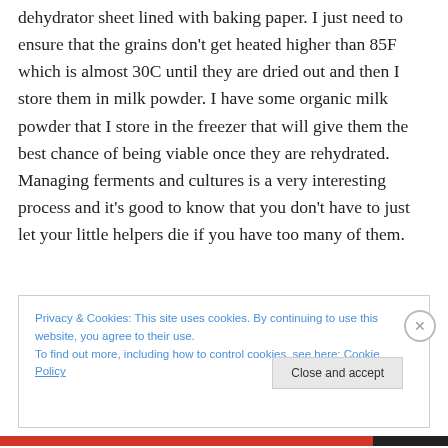dehydrator sheet lined with baking paper. I just need to ensure that the grains don't get heated higher than 85F which is almost 30C until they are dried out and then I store them in milk powder. I have some organic milk powder that I store in the freezer that will give them the best chance of being viable once they are rehydrated. Managing ferments and cultures is a very interesting process and it's good to know that you don't have to just let your little helpers die if you have too many of them.
Privacy & Cookies: This site uses cookies. By continuing to use this website, you agree to their use.
To find out more, including how to control cookies, see here: Cookie Policy